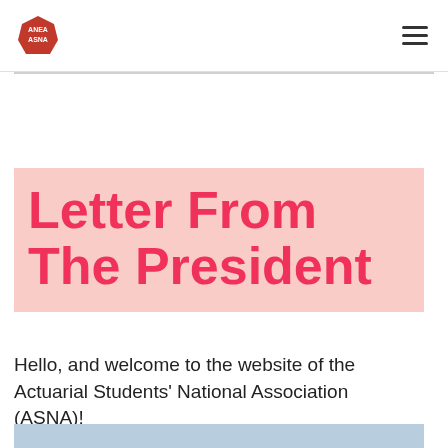ASNA logo and navigation menu
Letter From The President
Hello, and welcome to the website of the Actuarial Students' National Association (ASNA)!
[Figure (illustration): Light blue background block at bottom of page]